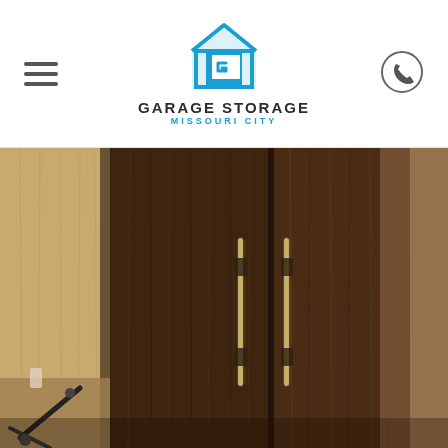GARAGE STORAGE MISSOURI CITY
[Figure (photo): Close-up photo of dark wood grain garage storage cabinet doors with two vertical silver bar handles, with a glimpse of lighter wood cabinetry and exercise equipment in the bottom left corner.]